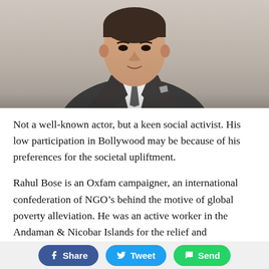[Figure (photo): Portrait photo of a man in a dark grey suit and tie, cropped from shoulders up, light neutral background]
Not a well-known actor, but a keen social activist. His low participation in Bollywood may be because of his preferences for the societal upliftment.
Rahul Bose is an Oxfam campaigner, an international confederation of NGO’s behind the motive of global poverty alleviation. He was an active worker in the Andaman & Nicobar Islands for the relief and rehabilitation.
Share  Tweet  Send